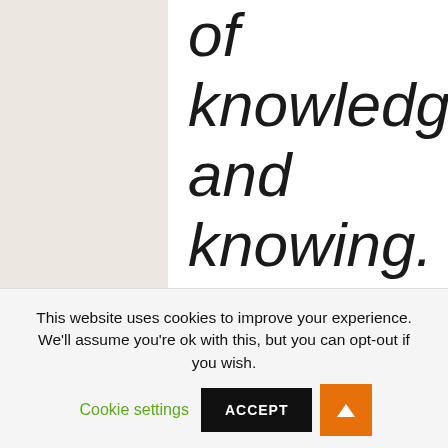of knowledge and knowing. In a short book called The Tacit
This website uses cookies to improve your experience. We'll assume you're ok with this, but you can opt-out if you wish. Cookie settings ACCEPT